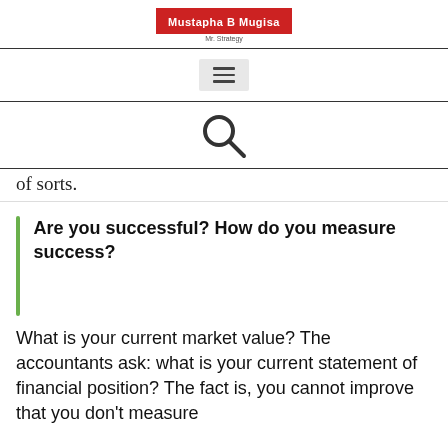Mustapha B Mugisa | Mr. Strategy
[Figure (other): Hamburger menu icon (three horizontal lines) inside a light grey rounded box]
[Figure (other): Search magnifying glass icon]
of sorts.
Are you successful? How do you measure success?
What is your current market value? The accountants ask: what is your current statement of financial position? The fact is, you cannot improve that you don't measure